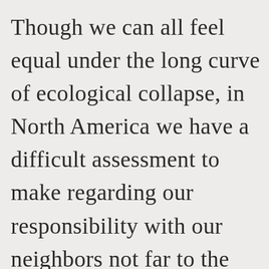Though we can all feel equal under the long curve of ecological collapse, in North America we have a difficult assessment to make regarding our responsibility with our neighbors not far to the south.